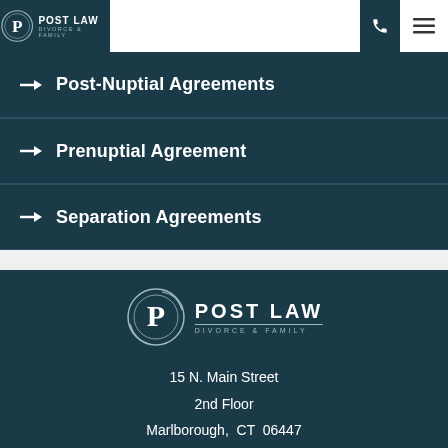Post Law | Divorce & Family
Post-Nuptial Agreements
Prenuptial Agreement
Separation Agreements
[Figure (logo): Post Law Divorce & Family logo with circular P emblem, white text on dark teal background]
15 N. Main Street
2nd Floor
Marlborough,  CT  06447